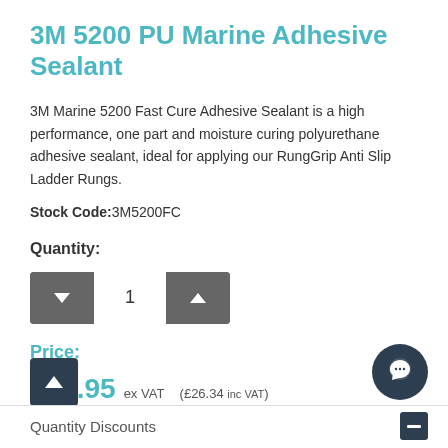3M 5200 PU Marine Adhesive Sealant
3M Marine 5200 Fast Cure Adhesive Sealant is a high performance, one part and moisture curing polyurethane adhesive sealant, ideal for applying our RungGrip Anti Slip Ladder Rungs.
Stock Code:3M5200FC
Quantity:
Price:
£21.95 ex VAT  (£26.34 inc VAT)
Quantity Discounts